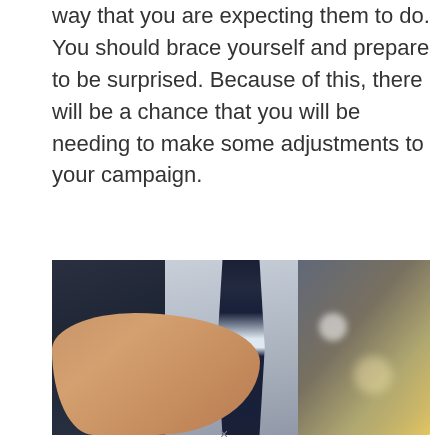way that you are expecting them to do. You should brace yourself and prepare to be surprised. Because of this, there will be a chance that you will be needing to make some adjustments to your campaign.
[Figure (photo): A business professional in a dark suit and striped blue tie reaching out a hand (thumbs up / handshake gesture) toward the camera, with a bright warm bokeh light effect on the right side of the image.]